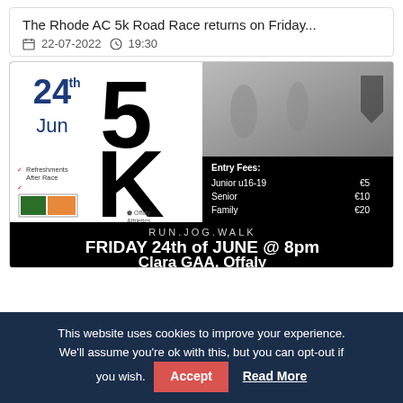The Rhode AC 5k Road Race returns on Friday...
22-07-2022  19:30
[Figure (photo): Event poster for a 5K road race on Friday 24th of June at Clara GAA, Offaly. Shows date '24th Jun', large '5K' text, running photo, entry fees (Junior u16-19 €5, Senior €10, Family €20), RUN.JOG.WALK tagline.]
This website uses cookies to improve your experience. We'll assume you're ok with this, but you can opt-out if you wish.  Accept  Read More